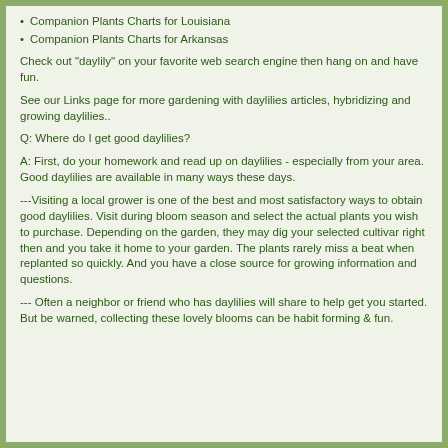Companion Plants Charts for Louisiana
Companion Plants Charts for Arkansas
Check out "daylily" on your favorite web search engine then hang on and have fun.
See our Links page for more gardening with daylilies articles, hybridizing and growing daylilies..
Q: Where do I get good daylilies?
A: First, do your homework and read up on daylilies - especially from your area. Good daylilies are available in many ways these days.
---Visiting a local grower is one of the best and most satisfactory ways to obtain good daylilies. Visit during bloom season and select the actual plants you wish to purchase. Depending on the garden, they may dig your selected cultivar right then and you take it home to your garden. The plants rarely miss a beat when replanted so quickly. And you have a close source for growing information and questions.
--- Often a neighbor or friend who has daylilies will share to help get you started. But be warned, collecting these lovely blooms can be habit forming & fun.